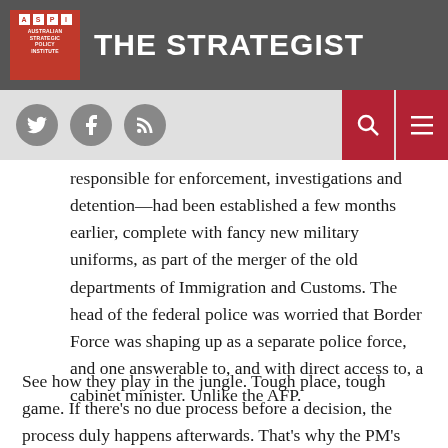THE STRATEGIST
responsible for enforcement, investigations and detention—had been established a few months earlier, complete with fancy new military uniforms, as part of the merger of the old departments of Immigration and Customs. The head of the federal police was worried that Border Force was shaping up as a separate police force, and one answerable to, and with direct access to, a cabinet minister. Unlike the AFP.
See how they play in the jungle. Tough place, tough game. If there's no due process before a decision, the process duly happens afterwards. That's why the PM's department is leading the bureaucratic work to put Home Affairs together over the